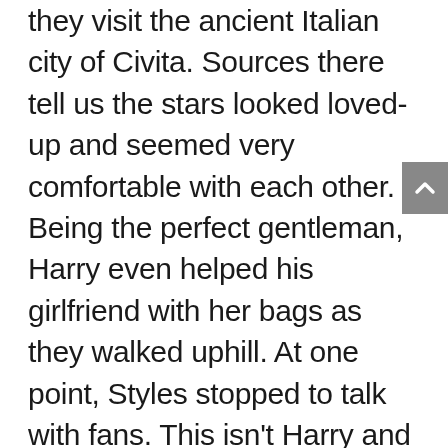they visit the ancient Italian city of Civita. Sources there tell us the stars looked loved-up and seemed very comfortable with each other. Being the perfect gentleman, Harry even helped his girlfriend with her bags as they walked uphill. At one point, Styles stopped to talk with fans. This isn't Harry and Olivia first trip to Italy together. In July 2021, the couple was spotted on a luxury yacht in the Tyrrhenian Sea. In the photos, they were seen kissing, dancing, and sunbathing together. Meanwhile, this new sighting marks the first time the couple has been seen together since Olivia was served with custody papers from ex-fiancé Jason Sudeikis onstage at CinemaCon. A source close to Sudeikis, 46, tells People, "Papers were drawn